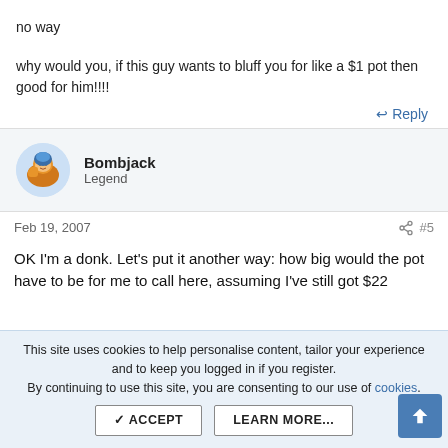no way
why would you, if this guy wants to bluff you for like a $1 pot then good for him!!!!
↩ Reply
Bombjack
Legend
Feb 19, 2007    #5
OK I'm a donk. Let's put it another way: how big would the pot have to be for me to call here, assuming I've still got $22
This site uses cookies to help personalise content, tailor your experience and to keep you logged in if you register.
By continuing to use this site, you are consenting to our use of cookies.
✓ ACCEPT   LEARN MORE...